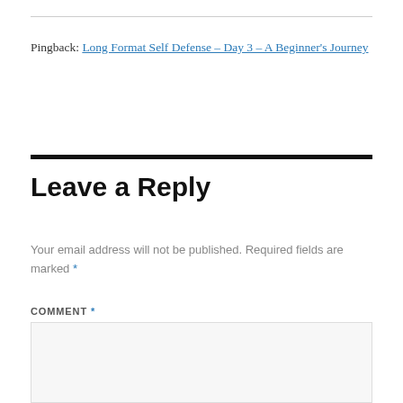Pingback: Long Format Self Defense – Day 3 – A Beginner's Journey
Leave a Reply
Your email address will not be published. Required fields are marked *
COMMENT *